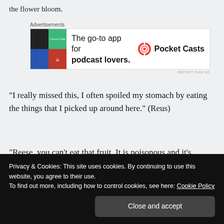the flower bloom.
[Figure (other): Advertisement banner for Pocket Casts app: 'The go-to app for podcast lovers.' with colorful logo on left and Pocket Casts brand on right.]
“I really missed this, I often spoiled my stomach by eating the things that I picked up around here.” (Reus)
“Reese, you can’t eat that fruit. It is poisonous and it’s painful when I ate it.” (Emilia)
Privacy & Cookies: This site uses cookies. By continuing to use this website, you agree to their use.
To find out more, including how to control cookies, see here: Cookie Policy